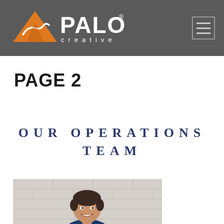PALO creative
PAGE 2
OUR OPERATIONS TEAM
[Figure (photo): A smiling middle-aged man with dark hair, wearing a blue blazer, photographed against a light stone/brick wall background. The photo is cropped showing his head and upper torso.]